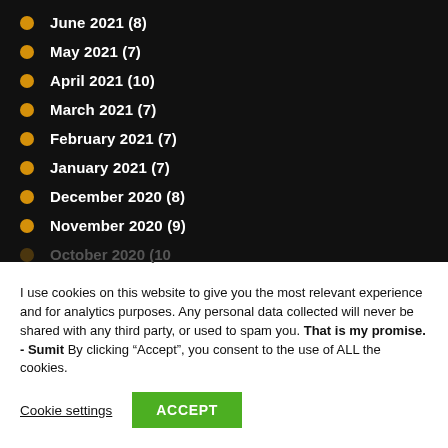June 2021 (8)
May 2021 (7)
April 2021 (10)
March 2021 (7)
February 2021 (7)
January 2021 (7)
December 2020 (8)
November 2020 (9)
I use cookies on this website to give you the most relevant experience and for analytics purposes. Any personal data collected will never be shared with any third party, or used to spam you. That is my promise. - Sumit By clicking “Accept”, you consent to the use of ALL the cookies.